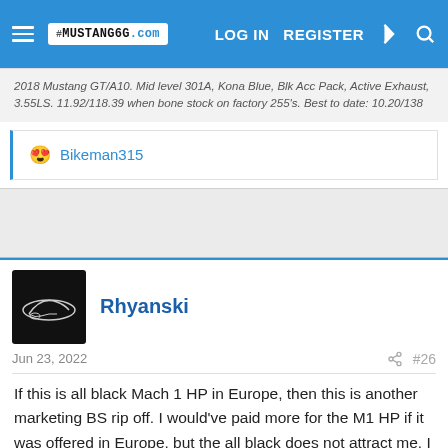MUSTANG6G.com | LOG IN | REGISTER
2018 Mustang GT/A10. Mid level 301A, Kona Blue, Blk Acc Pack, Active Exhaust, 3.55LS. 11.92/118.39 when bone stock on factory 255's. Best to date: 10.20/138
😍 Bikeman315
Rhyanski
Jun 23, 2022  #26
If this is all black Mach 1 HP in Europe, then this is another marketing BS rip off. I would've paid more for the M1 HP if it was offered in Europe, but the all black does not attract me. I bet sales are going down and Ford started rolling out special editions or something to boost their interest. The